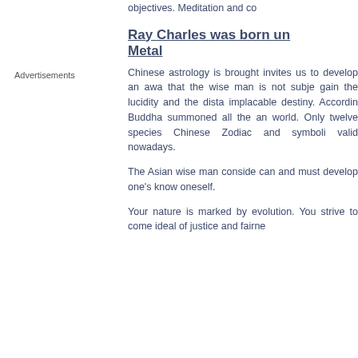objectives. Meditation and co...
Advertisements
Ray Charles was born under Metal
Chinese astrology is brought... invites us to develop an awa... that the wise man is not subje... gain the lucidity and the dista... implacable destiny. Accordin... Buddha summoned all the an... world. Only twelve species... Chinese Zodiac and symboliz... valid nowadays.
The Asian wise man conside... can and must develop one's... know oneself.
Your nature is marked by... evolution. You strive to come... ideal of justice and fairness...